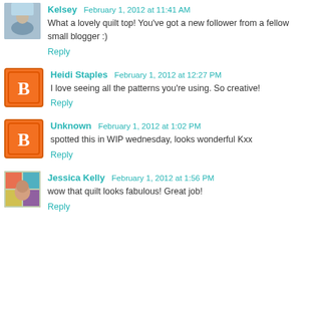Kelsey February 1, 2012 at 11:41 AM
What a lovely quilt top! You've got a new follower from a fellow small blogger :)
Reply
Heidi Staples February 1, 2012 at 12:27 PM
I love seeing all the patterns you're using. So creative!
Reply
Unknown February 1, 2012 at 1:02 PM
spotted this in WIP wednesday, looks wonderful Kxx
Reply
Jessica Kelly February 1, 2012 at 1:56 PM
wow that quilt looks fabulous! Great job!
Reply